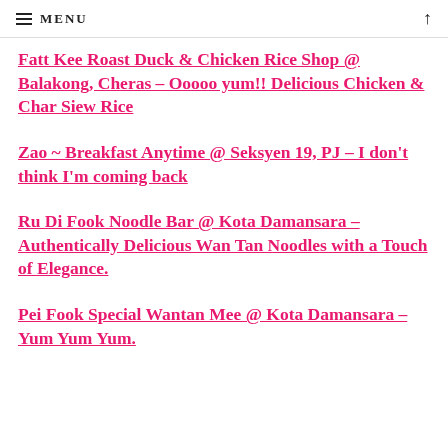MENU
Fatt Kee Roast Duck & Chicken Rice Shop @ Balakong, Cheras – Ooooo yum!! Delicious Chicken & Char Siew Rice
Zao ~ Breakfast Anytime @ Seksyen 19, PJ – I don't think I'm coming back
Ru Di Fook Noodle Bar @ Kota Damansara – Authentically Delicious Wan Tan Noodles with a Touch of Elegance.
Pei Fook Special Wantan Mee @ Kota Damansara – Yum Yum Yum.